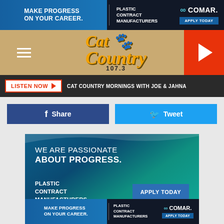[Figure (screenshot): Top banner advertisement for COMAR - Plastic Contract Manufacturers. Shows 'MAKE PROGRESS ON YOUR CAREER.' with COMAR logo and APPLY TODAY button on blue background.]
[Figure (logo): Cat Country 107.3 radio station navigation bar with hamburger menu, logo, and play button.]
LISTEN NOW | CAT COUNTRY MORNINGS WITH JOE & JAHNA
[Figure (screenshot): Facebook Share and Twitter Tweet social sharing buttons.]
[Figure (infographic): COMAR advertisement with gradient blue-teal background. Text reads 'WE ARE PASSIONATE ABOUT PROGRESS.' with PLASTIC CONTRACT MANUFACTURERS label and APPLY TODAY button.]
[Figure (screenshot): Bottom banner advertisement for COMAR - Plastic Contract Manufacturers. Shows 'MAKE PROGRESS ON YOUR CAREER.' with COMAR logo and APPLY TODAY button.]